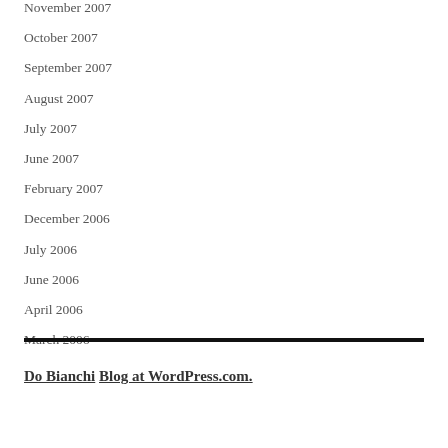November 2007
October 2007
September 2007
August 2007
July 2007
June 2007
February 2007
December 2006
July 2006
June 2006
April 2006
March 2006
Do Bianchi Blog at WordPress.com.